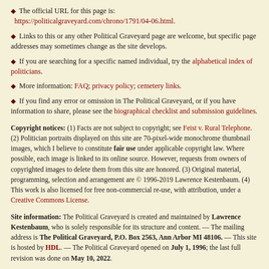The official URL for this page is: https://politicalgraveyard.com/chrono/1791/04-06.html.
Links to this or any other Political Graveyard page are welcome, but specific page addresses may sometimes change as the site develops.
If you are searching for a specific named individual, try the alphabetical index of politicians.
More information: FAQ; privacy policy; cemetery links.
If you find any error or omission in The Political Graveyard, or if you have information to share, please see the biographical checklist and submission guidelines.
Copyright notices: (1) Facts are not subject to copyright; see Feist v. Rural Telephone. (2) Politician portraits displayed on this site are 70-pixel-wide monochrome thumbnail images, which I believe to constitute fair use under applicable copyright law. Where possible, each image is linked to its online source. However, requests from owners of copyrighted images to delete them from this site are honored. (3) Original material, programming, selection and arrangement are © 1996-2019 Lawrence Kestenbaum. (4) This work is also licensed for free non-commercial re-use, with attribution, under a Creative Commons License.
Site information: The Political Graveyard is created and maintained by Lawrence Kestenbaum, who is solely responsible for its structure and content. — The mailing address is The Political Graveyard, P.O. Box 2563, Ann Arbor MI 48106. — This site is hosted by HDL. — The Political Graveyard opened on July 1, 1996; the last full revision was done on May 10, 2022.